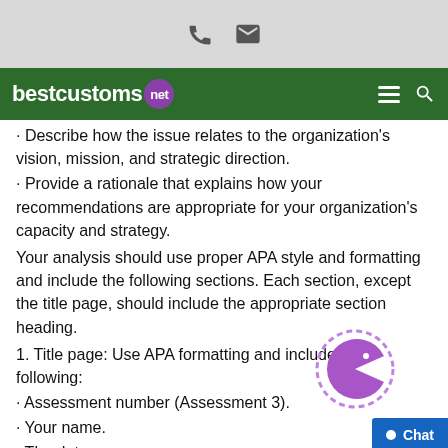bestcustoms.net
Describe how the issue relates to the organization's vision, mission, and strategic direction.
Provide a rationale that explains how your recommendations are appropriate for your organization's capacity and strategy.
Your analysis should use proper APA style and formatting and include the following sections. Each section, except the title page, should include the appropriate section heading.
1. Title page: Use APA formatting and include the following:
• Assessment number (Assessment 3).
• Your name.
• The date.